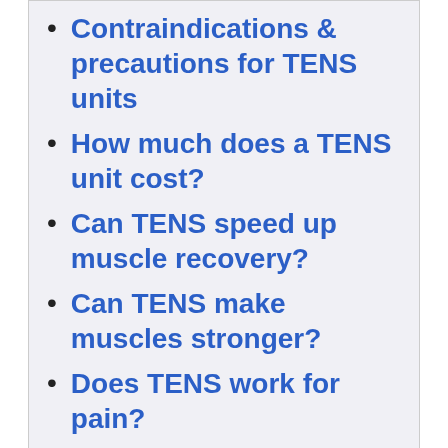Contraindications & precautions for TENS units
How much does a TENS unit cost?
Can TENS speed up muscle recovery?
Can TENS make muscles stronger?
Does TENS work for pain?
Disclaimer: This content is for educational purposes and is not medical advice. Read the full disclaimer.